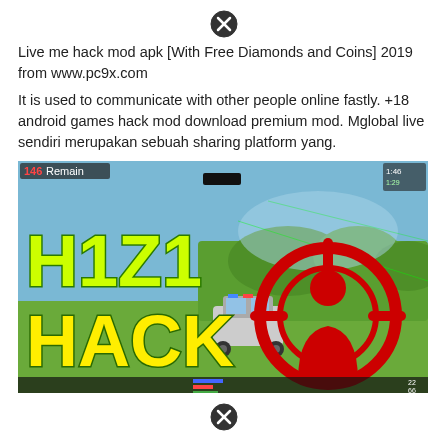[Figure (other): Close/X button icon at the top center of the page]
Live me hack mod apk [With Free Diamonds and Coins] 2019 from www.pc9x.com
It is used to communicate with other people online fastly. +18 android games hack mod download premium mod. Mglobal live sendiri merupakan sebuah sharing platform yang.
[Figure (screenshot): Screenshot of H1Z1 Hack game image showing bold green/yellow text 'H1Z1 HACK' on the left and a red crosshair/target icon with a person silhouette on the right, with a game outdoor scene in the background.]
[Figure (other): Close/X button icon at the bottom center of the page]